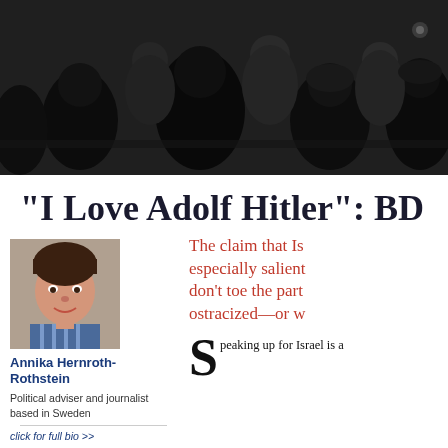[Figure (photo): Black and white photograph of people seated in what appears to be a conference or meeting room, seen from the side]
“I Love Adolf Hitler”: BD
The claim that Is especially salient don’t toe the part ostracized—or w
[Figure (photo): Portrait photo of Annika Hernroth-Rothstein, a woman smiling at the camera]
Annika Hernroth-Rothstein
Political adviser and journalist based in Sweden
click for full bio >>
Speaking up for Israel is a